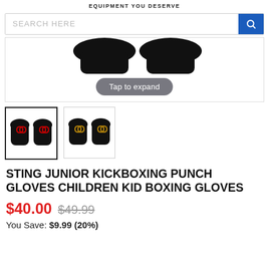EQUIPMENT YOU DESERVE
[Figure (screenshot): Search bar with 'SEARCH HERE' placeholder text and a blue search button with magnifying glass icon]
[Figure (photo): Main product image area showing black boxing gloves partially cropped at top, with a 'Tap to expand' pill button overlay]
[Figure (photo): Thumbnail 1: black kickboxing gloves with red infinity logo (selected)]
[Figure (photo): Thumbnail 2: black kickboxing gloves with gold infinity logo]
STING JUNIOR KICKBOXING PUNCH GLOVES CHILDREN KID BOXING GLOVES
$40.00 $49.99
You Save: $9.99 (20%)